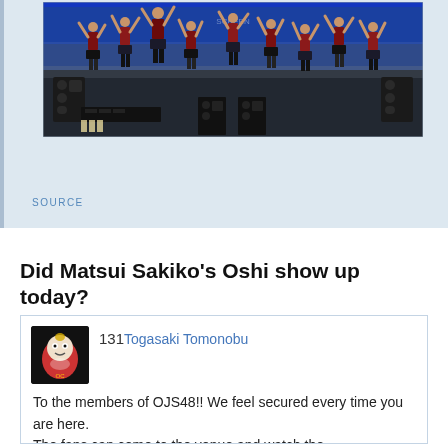[Figure (photo): Concert photo showing performers (idol group) on a large outdoor stadium stage, performing with raised arms, wearing dark costumes with skirts and knee-high socks. Large speaker stacks visible on stage. Stadium seating visible in background.]
SOURCE
Did Matsui Sakiko's Oshi show up today?
131 Togasaki Tomonobu
To the members of OJS48!! We feel secured every time you are here.
The fans can come to the venue and watch the